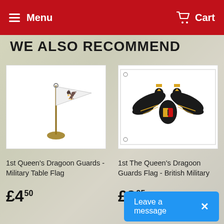Menu  Cart
WE ALSO RECOMMEND
[Figure (photo): 1st Queen's Dragoon Guards military table flag with small white flag on a pole with stand]
1st Queen's Dragoon Guards - Military Table Flag
£4.50
[Figure (photo): 1st The Queen's Dragoon Guards Flag - British Military flag showing double-headed eagle heraldic design]
1st The Queen's Dragoon Guards Flag - British Military
£9.95
Leave a message  ×